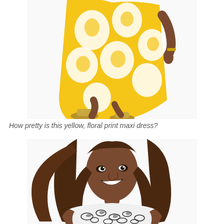[Figure (photo): A woman wearing a yellow and white floral print maxi dress, walking. Only the lower body and hands are visible. She is wearing gold sandals. The dress has large bold floral patterns in yellow on white background.]
How pretty is this yellow, floral print maxi dress?
[Figure (photo): A woman with long brown hair, smiling and looking upward. She is wearing a sleeveless white top with black snake print pattern. Only the upper body and head are visible.]